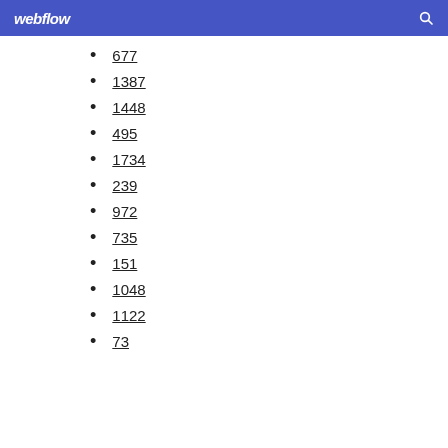webflow
677
1387
1448
495
1734
239
972
735
151
1048
1122
73